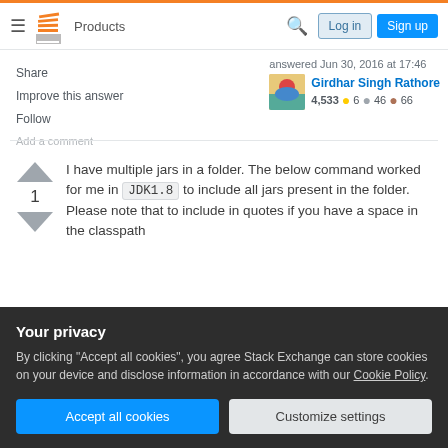≡  [Stack Overflow logo]  Products   🔍   Log in   Sign up
Share
Improve this answer
Follow
Add a comment
answered Jun 30, 2016 at 17:46
Girdhar Singh Rathore
4,533 ● 6 ● 46 ● 66
I have multiple jars in a folder. The below command worked for me in JDK1.8 to include all jars present in the folder. Please note that to include in quotes if you have a space in the classpath
Windows
Your privacy
By clicking "Accept all cookies", you agree Stack Exchange can store cookies on your device and disclose information in accordance with our Cookie Policy.
Accept all cookies   Customize settings